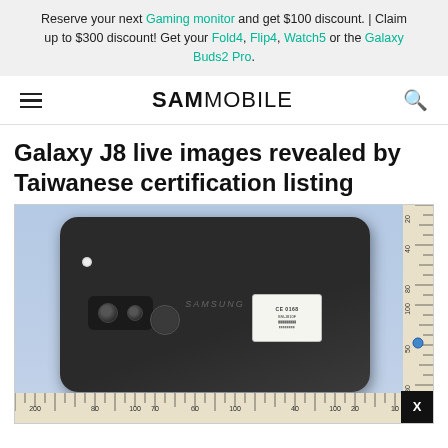Reserve your next Gaming monitor and get $100 discount. | Claim up to $300 discount! Get your Fold4, Flip4, Watch5 or the Galaxy Buds2 Pro.
SAM MOBILE
Galaxy J8 live images revealed by Taiwanese certification listing
[Figure (photo): Back of a Samsung Galaxy J8 smartphone (black) placed on a blue surface surrounded by measurement rulers on the bottom and right side. The phone shows a dual camera module with flash, a fingerprint sensor, Samsung branding, and a certification label sticker. A ruler with markings in millimeters is visible along the bottom and right edges.]